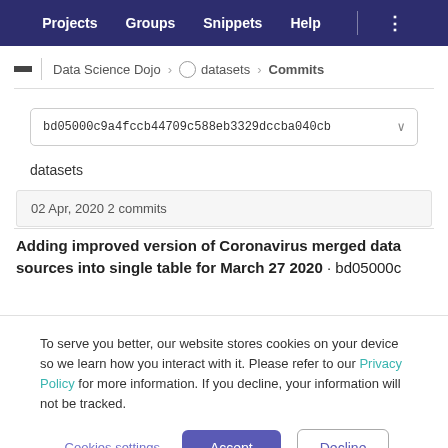Projects   Groups   Snippets   Help
Data Science Dojo > datasets > Commits
bd05000c9a4fccb44709c588eb3329dccba040cb
datasets
02 Apr, 2020 2 commits
Adding improved version of Coronavirus merged data sources into single table for March 27 2020 · bd05000c
To serve you better, our website stores cookies on your device so we learn how you interact with it. Please refer to our Privacy Policy for more information. If you decline, your information will not be tracked.
Cookies settings   Accept   Decline